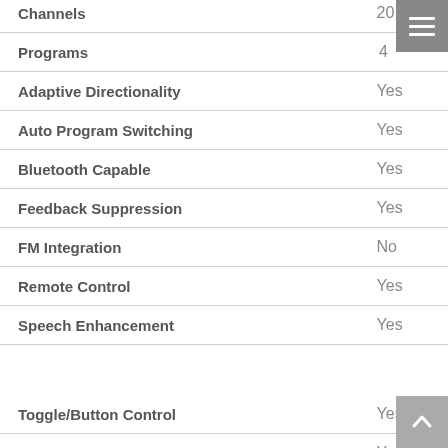| Feature | Value |
| --- | --- |
| Channels | 20 |
| Programs | 4 |
| Adaptive Directionality | Yes |
| Auto Program Switching | Yes |
| Bluetooth Capable | Yes |
| Feedback Suppression | Yes |
| FM Integration | No |
| Remote Control | Yes |
| Speech Enhancement | Yes |
| Toggle/Button Control | Yes |
| Transient Impulse Control | Yes |